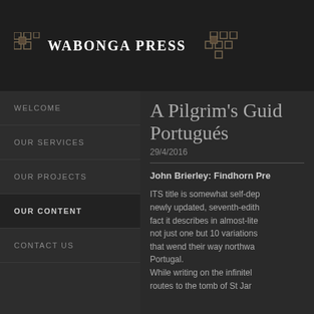Wabonga Press
WELCOME
OUR SERVICES
OUR PROJECTS
OUR CONTENT
CONTACT US
A Pilgrim's Guide Portugués
29/4/2016
John Brierley: Findhorn Pre
ITS title is somewhat self-dep newly updated, seventh-edith fact it describes in almost-lite not just one but 10 variations that wend their way northwa Portugal. While writing on the infinitel routes to the tomb of St Jar